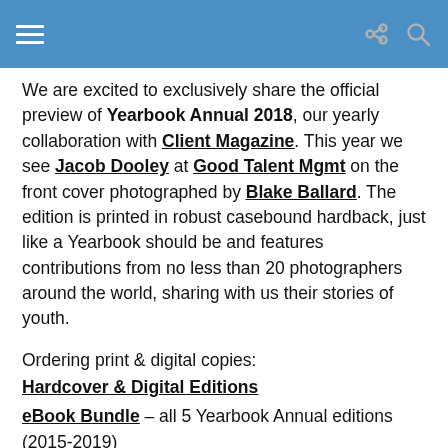[hamburger menu] [share icon] [search icon]
We are excited to exclusively share the official preview of Yearbook Annual 2018, our yearly collaboration with Client Magazine. This year we see Jacob Dooley at Good Talent Mgmt on the front cover photographed by Blake Ballard. The edition is printed in robust casebound hardback, just like a Yearbook should be and features contributions from no less than 20 photographers around the world, sharing with us their stories of youth.
Ordering print & digital copies:
Hardcover & Digital Editions
eBook Bundle – all 5 Yearbook Annual editions (2015-2019)
App Store